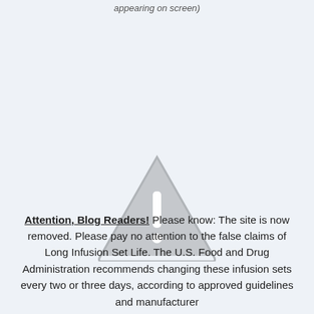appearing on screen)
[Figure (illustration): Gray warning triangle icon with exclamation mark]
Attention, Blog Readers! Please know: The site is now removed. Please pay no attention to the false claims of Long Infusion Set Life. The U.S. Food and Drug Administration recommends changing these infusion sets every two or three days, according to approved guidelines and manufacturer